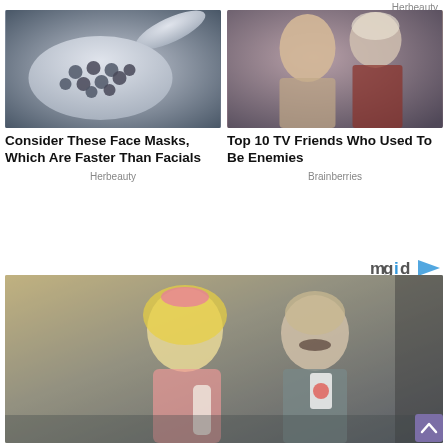Herbeauty
[Figure (photo): Close-up of a white spoon filled with dark gray/black beads or seeds]
[Figure (photo): Two people, a blonde woman in front and a man with light hair behind her, dramatic TV scene]
Consider These Face Masks, Which Are Faster Than Facials
Top 10 TV Friends Who Used To Be Enemies
Herbeauty
Brainberries
[Figure (logo): mgid logo with colorful letters and play button arrow]
[Figure (photo): A woman in a blonde wig and pink costume with a bald man taking a mirror selfie in a bathroom]